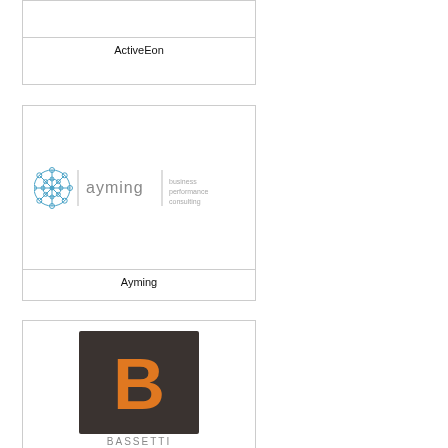[Figure (logo): ActiveEon company logo (partial, cropped at top)]
ActiveEon
[Figure (logo): Ayming logo with blue snowflake/network icon, 'ayming' text, vertical divider, and 'business performance consulting' tagline in grey]
Ayming
[Figure (logo): Dark brown/charcoal square with orange letter B, partial text below (BASSETTI or similar)]